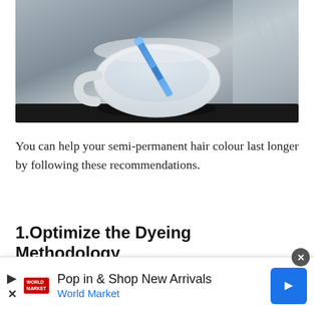[Figure (photo): A white hair dye mixing bowl with a blue brush/applicator resting in it, sitting on a black tray. Blurry grey plastic cape visible in background.]
You can help your semi-permanent hair colour last longer by following these recommendations.
1.Optimize the Dyeing Methodology
[Figure (photo): Partial view of a second photo showing what appears to be hair being dyed, only top strip visible.]
Pop in & Shop New Arrivals World Market